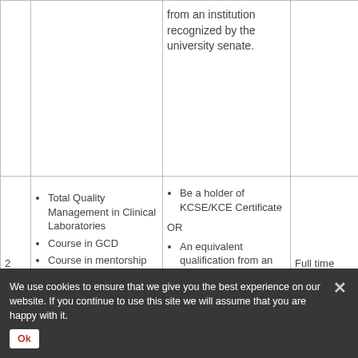| No. | Programme | Entry Requirements | Mode of Study |
| --- | --- | --- | --- |
|  |  | from an institution recognized by the university senate. |  |
| 2 | • Total Quality Management in Clinical Laboratories
• Course in GCD
• Course in mentorship | • Be a holder of KCSE/KCE Certificate
OR
• An equivalent qualification from an | Full time |
We use cookies to ensure that we give you the best experience on our website. If you continue to use this site we will assume that you are happy with it.